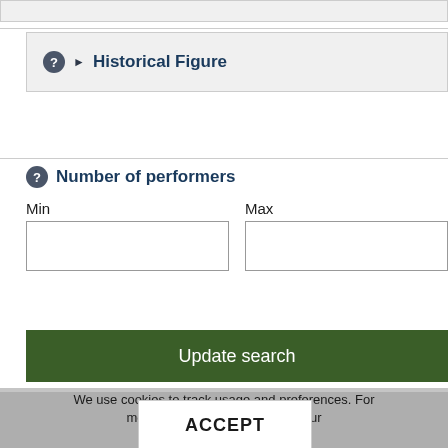[Figure (screenshot): Top partial UI element - grey box remnant at top of page]
Historical Figure
Number of performers
Min
Max
[Figure (screenshot): Update search button - dark green button with white text]
Total audience figure
Min
We use cookies to track usage and preferences. For more information, please read our Privacy & Cookie Policy.
[Figure (screenshot): ACCEPT button - white rectangle with bold text]
[Figure (screenshot): Update search button at bottom - greyed out]